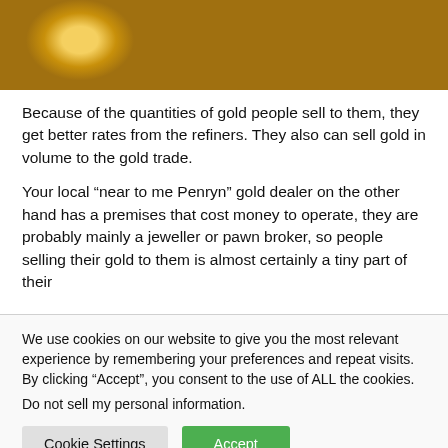[Figure (photo): Close-up photograph of stacked gold coins]
Because of the quantities of gold people sell to them, they get better rates from the refiners. They also can sell gold in volume to the gold trade.
Your local “near to me Penryn” gold dealer on the other hand has a premises that cost money to operate, they are probably mainly a jeweller or pawn broker, so people selling their gold to them is almost certainly a tiny part of their
We use cookies on our website to give you the most relevant experience by remembering your preferences and repeat visits. By clicking “Accept”, you consent to the use of ALL the cookies.
Do not sell my personal information.